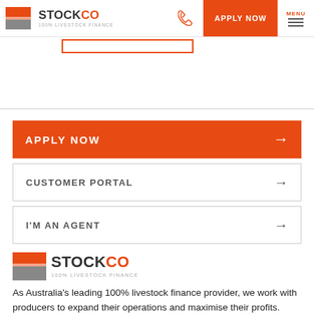[Figure (logo): StockCo 100% Livestock Finance logo with orange and grey icon]
APPLY NOW
CUSTOMER PORTAL
I'M AN AGENT
[Figure (logo): StockCo 100% Livestock Finance logo (larger version)]
As Australia's leading 100% livestock finance provider, we work with producers to expand their operations and maximise their profits.